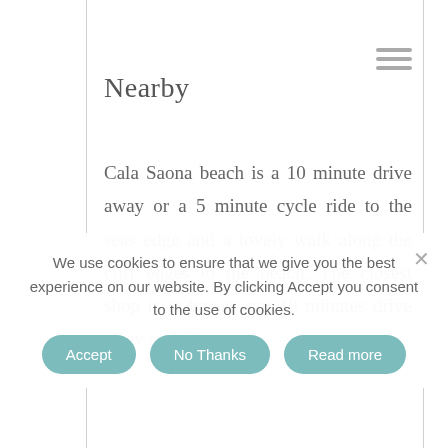Nearby
Cala Saona beach is a 10 minute drive away or a 5 minute cycle ride to the seas edge and a lovely walk along the cliff edges to the beach. The closest shop is at bar es cap 10 minutes drive away and also…
We use cookies to ensure that we give you the best experience on our website. By clicking Accept you consent to the use of cookies.